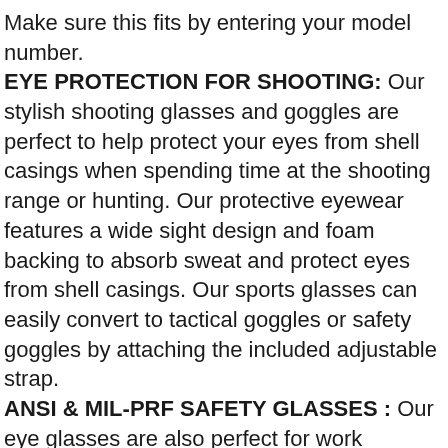Make sure this fits by entering your model number. EYE PROTECTION FOR SHOOTING: Our stylish shooting glasses and goggles are perfect to help protect your eyes from shell casings when spending time at the shooting range or hunting. Our protective eyewear features a wide sight design and foam backing to absorb sweat and protect eyes from shell casings. Our sports glasses can easily convert to tactical goggles or safety goggles by attaching the included adjustable strap. ANSI & MIL-PRF SAFETY GLASSES : Our eye glasses are also perfect for work environments that require ANSI Z87.1-2003 and Mil-PRF-31013 safety glasses. Using the included interchangeable lenses our glasses can converted to clear safety glasses, tinted safety glasses and yellow safety glasses. These glasses will stay securely on your face when converted to goggles, making them perfect for active work environments.